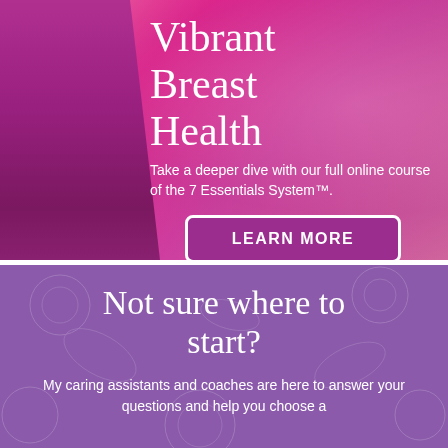Vibrant Breast Health
Take a deeper dive with our full online course of the 7 Essentials System™.
LEARN MORE
Not sure where to start?
My caring assistants and coaches are here to answer your questions and help you choose a